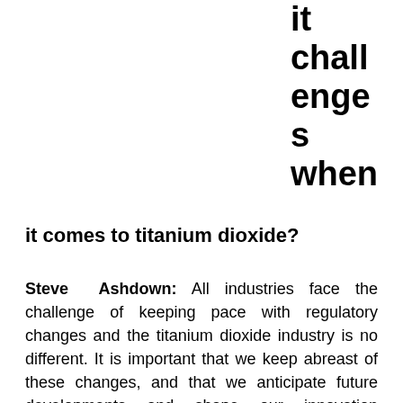it challenges when
it comes to titanium dioxide?
Steve Ashdown: All industries face the challenge of keeping pace with regulatory changes and the titanium dioxide industry is no different. It is important that we keep abreast of these changes, and that we anticipate future developments and shape our innovation strategies accordingly. The end-users of titanium dioxide are incorporating it into ever more sophisticated and challenging applications, and the world of surface coatings is foremost in this respect. This provides great opportunities for innovation and development for a multi-functional material like titanium